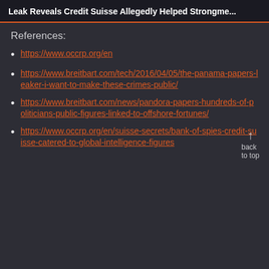Leak Reveals Credit Suisse Allegedly Helped Strongme...
References:
https://www.occrp.org/en
https://www.breitbart.com/tech/2016/04/05/the-panama-papers-leaker-i-want-to-make-these-crimes-public/
https://www.breitbart.com/news/pandora-papers-hundreds-of-politicians-public-figures-linked-to-offshore-fortunes/
https://www.occrp.org/en/suisse-secrets/bank-of-spies-credit-suisse-catered-to-global-intelligence-figures